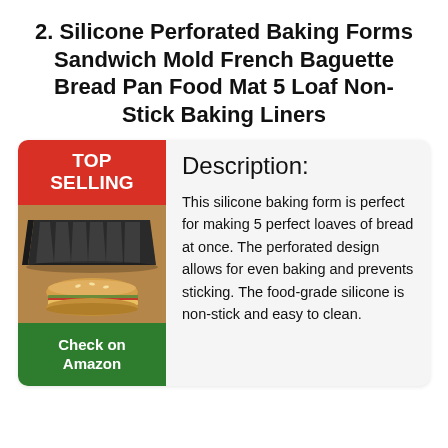2. Silicone Perforated Baking Forms Sandwich Mold French Baguette Bread Pan Food Mat 5 Loaf Non-Stick Baking Liners
[Figure (photo): Product card showing a baking pan with 5 loaf slots (dark gray non-stick perforated baguette pan) and a sandwich/sub roll below it. Red 'TOP SELLING' badge at top left, green 'Check on Amazon' button below the image.]
Description:

This silicone baking form is perfect for making 5 perfect loaves of bread at once. The perforated design allows for even baking and prevents sticking. The food-grade silicone is non-stick and easy to clean.